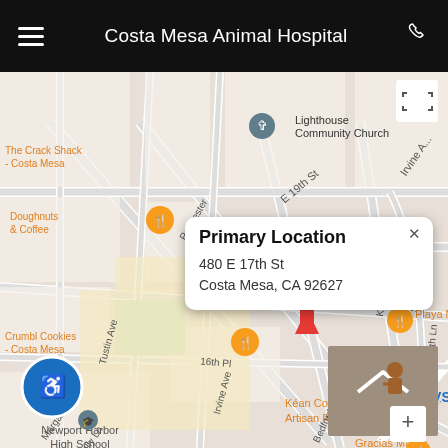Costa Mesa Animal Hospital
[Figure (map): Google Maps screenshot showing the area around 480 E 17th St, Costa Mesa, CA 92627. Map shows streets including E 17th St, E 19th St, Rochester, Tustin Ave, Irvine Ave, Dover Dr, Bedford Ln, Westcliff. Landmarks visible: Lighthouse Community Church, The Crack Shack Costa Mesa, Doughnuts & Coffee, Crumbl Cookies Costa Mesa, Mariners Park & VJ Community Center, Playa Mesa, Kean Coffee Artisan Roasters, CVS, Gracias Madre Newport Beach, Environmental Nature Center, Newport Harbor High School. A red map pin marks the hospital location on E 17th St. An info popup shows 'Primary Location' with address '480 E 17th St, Costa Mesa, CA 92627'.]
Primary Location
480 E 17th St
Costa Mesa, CA 92627